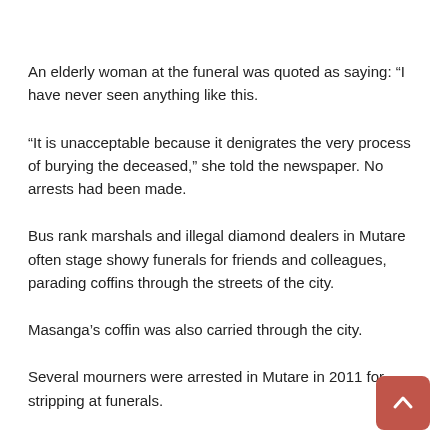An elderly woman at the funeral was quoted as saying: “I have never seen anything like this.
“It is unacceptable because it denigrates the very process of burying the deceased,” she told the newspaper. No arrests had been made.
Bus rank marshals and illegal diamond dealers in Mutare often stage showy funerals for friends and colleagues, parading coffins through the streets of the city.
Masanga’s coffin was also carried through the city.
Several mourners were arrested in Mutare in 2011 for stripping at funerals.